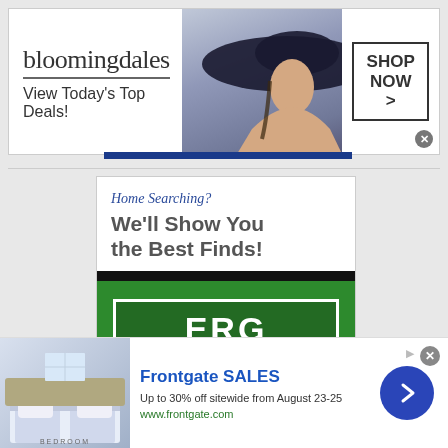[Figure (illustration): Bloomingdale's banner advertisement showing logo, 'View Today's Top Deals!' tagline, woman with large hat photo, and 'SHOP NOW >' button]
[Figure (illustration): ERG Elite Realty Group advertisement with 'Home Searching? We'll Show You the Best Finds!' headline, green background ERG logo box, and address '135 W. Bockman Way, Sparta']
[Figure (illustration): Frontgate SALES bottom advertisement with bedroom image, 'Up to 30% off sitewide from August 23-25', www.frontgate.com URL, and blue arrow button]